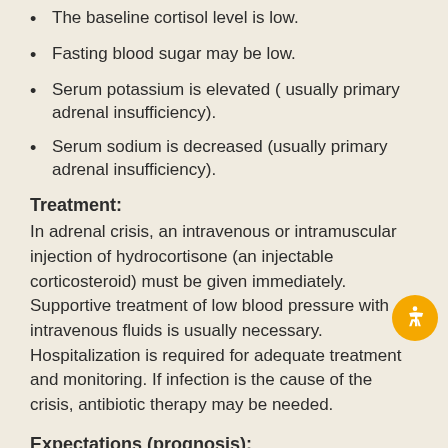The baseline cortisol level is low.
Fasting blood sugar may be low.
Serum potassium is elevated ( usually primary adrenal insufficiency).
Serum sodium is decreased (usually primary adrenal insufficiency).
Treatment:
In adrenal crisis, an intravenous or intramuscular injection of hydrocortisone (an injectable corticosteroid) must be given immediately. Supportive treatment of low blood pressure with intravenous fluids is usually necessary. Hospitalization is required for adequate treatment and monitoring. If infection is the cause of the crisis, antibiotic therapy may be needed.
Expectations (prognosis):
Death may occur due to overwhelming shock if early treatment is not provided.